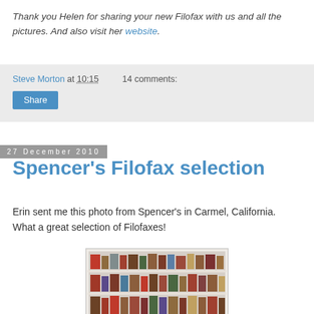Thank you Helen for sharing your new Filofax with us and all the pictures. And also visit her website.
Steve Morton at 10:15   14 comments:
Share
27 December 2010
Spencer's Filofax selection
Erin sent me this photo from Spencer's in Carmel, California.  What a great selection of Filofaxes!
[Figure (photo): Photo of shelves stocked with many Filofax planners in various colors at Spencer's store in Carmel, California.]